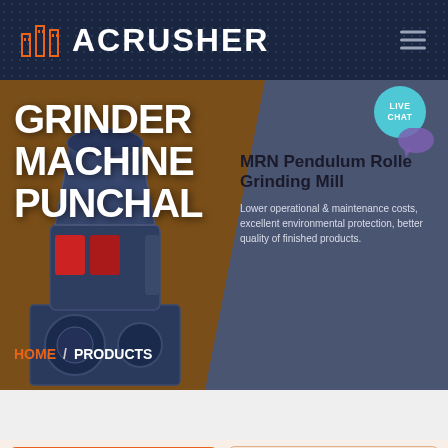ACRUSHER
[Figure (screenshot): Hero banner showing a grinder machine on a brown/steel blue background with product card for MRN Pendulum Roller Grinding Mill]
GRINDER MACHINE PUNCHAL
MRN Pendulum Roller Grinding Mill
Lower operational & maintenance costs, excellent environmental protection, better quality of finished products.
HOME / PRODUCTS
Get a Quote
WhatsApp